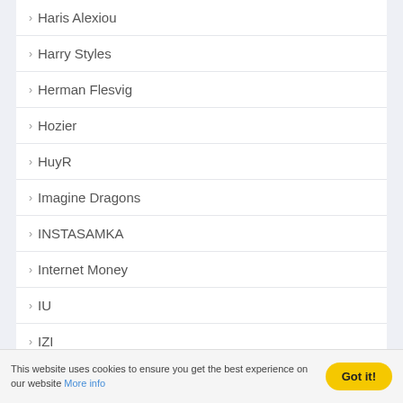Haris Alexiou
Harry Styles
Herman Flesvig
Hozier
HuyR
Imagine Dragons
INSTASAMKA
Internet Money
IU
IZI
J. Cole
Jack Harlow
This website uses cookies to ensure you get the best experience on our website More info
Got it!